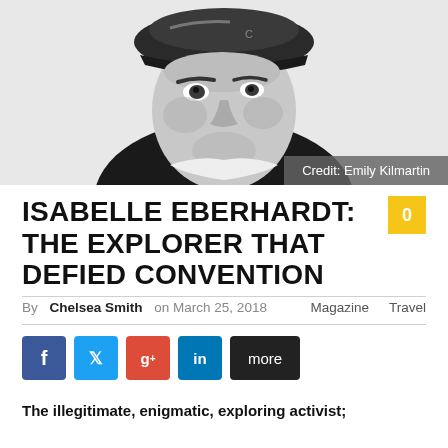[Figure (illustration): Black and white graphic illustration of a person wearing a cap, looking forward. Grayscale stylized artwork.]
Credit: Emily Kilmartin
ISABELLE EBERHARDT: THE EXPLORER THAT DEFIED CONVENTION
By Chelsea Smith on March 25, 2018    Magazine    Travel
[Figure (infographic): Social share buttons: Facebook, Twitter, Google+, LinkedIn, more]
The illegitimate, enigmatic, exploring activist;